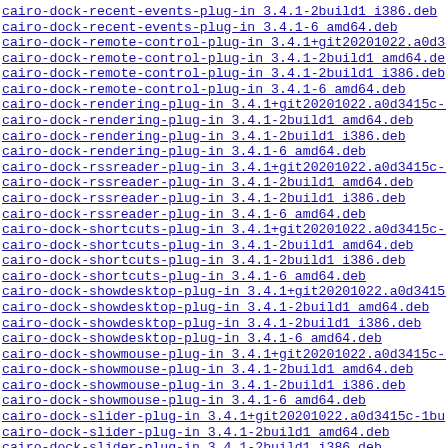cairo-dock-recent-events-plug-in 3.4.1-2build1 i386.deb
cairo-dock-recent-events-plug-in 3.4.1-6 amd64.deb
cairo-dock-remote-control-plug-in 3.4.1+git20201022.a0d34...
cairo-dock-remote-control-plug-in 3.4.1-2build1 amd64.deb
cairo-dock-remote-control-plug-in 3.4.1-2build1 i386.deb
cairo-dock-remote-control-plug-in 3.4.1-6 amd64.deb
cairo-dock-rendering-plug-in 3.4.1+git20201022.a0d3415c-1...
cairo-dock-rendering-plug-in 3.4.1-2build1 amd64.deb
cairo-dock-rendering-plug-in 3.4.1-2build1 i386.deb
cairo-dock-rendering-plug-in 3.4.1-6 amd64.deb
cairo-dock-rssreader-plug-in 3.4.1+git20201022.a0d3415c-1...
cairo-dock-rssreader-plug-in 3.4.1-2build1 amd64.deb
cairo-dock-rssreader-plug-in 3.4.1-2build1 i386.deb
cairo-dock-rssreader-plug-in 3.4.1-6 amd64.deb
cairo-dock-shortcuts-plug-in 3.4.1+git20201022.a0d3415c-1...
cairo-dock-shortcuts-plug-in 3.4.1-2build1 amd64.deb
cairo-dock-shortcuts-plug-in 3.4.1-2build1 i386.deb
cairo-dock-shortcuts-plug-in 3.4.1-6 amd64.deb
cairo-dock-showdesktop-plug-in 3.4.1+git20201022.a0d3415c...
cairo-dock-showdesktop-plug-in 3.4.1-2build1 amd64.deb
cairo-dock-showdesktop-plug-in 3.4.1-2build1 i386.deb
cairo-dock-showdesktop-plug-in 3.4.1-6 amd64.deb
cairo-dock-showmouse-plug-in 3.4.1+git20201022.a0d3415c-1...
cairo-dock-showmouse-plug-in 3.4.1-2build1 amd64.deb
cairo-dock-showmouse-plug-in 3.4.1-2build1 i386.deb
cairo-dock-showmouse-plug-in 3.4.1-6 amd64.deb
cairo-dock-slider-plug-in 3.4.1+git20201022.a0d3415c-1bu...
cairo-dock-slider-plug-in 3.4.1-2build1 amd64.deb
cairo-dock-slider-plug-in 3.4.1-2build1 i386.deb
cairo-dock-slider-plug-in 3.4.1-6 amd64.deb